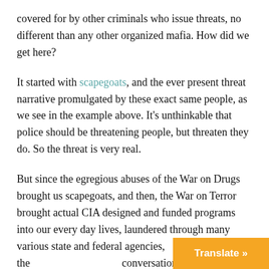covered for by other criminals who issue threats, no different than any other organized mafia. How did we get here?
It started with scapegoats, and the ever present threat narrative promulgated by these exact same people, as we see in the example above. It's unthinkable that police should be threatening people, but threaten they do. So the threat is very real.
But since the egregious abuses of the War on Drugs brought us scapegoats, and then, the War on Terror brought actual CIA designed and funded programs into our every day lives, laundered through many various state and federal agencies, the conversations have become louder an